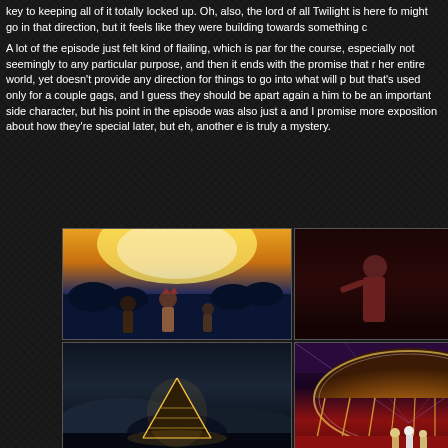key to keeping all of it totally locked up. Oh, also, the lord of all Twilight is here fo might go in that direction, but it feels like they were building towards something c
A lot of the episode just felt kind of flailing, which is par for the course, especially not seemingly to any particular purpose, and then it ends with the promise that r her entire world, yet doesn't provide any direction for things to go into what will p but that's used only for a couple gags, and I guess they should be apart again a him to be an important side character, but his point in the episode was also just a and I promise more exposition about how they're special later, but eh, another e is truly a mystery.
[Figure (photo): Anime screenshot showing three characters with a large fire/explosion in the background at sunset]
[Figure (photo): Anime screenshot showing two characters facing each other in a dark setting]
[Figure (photo): Anime screenshot partially visible, red background]
[Figure (photo): Anime screenshot showing a dark landscape with a glowing pyramidal structure]
[Figure (photo): Anime screenshot showing a glowing dome-like structure with pillars and small figures standing below]
[Figure (photo): Anime screenshot partially visible, red/dark background]
[Figure (photo): Anime screenshot showing a corridor or room with teal/green lighting]
[Figure (photo): Anime screenshot showing a bright room, partially visible]
[Figure (photo): Anime screenshot partially visible on right edge]